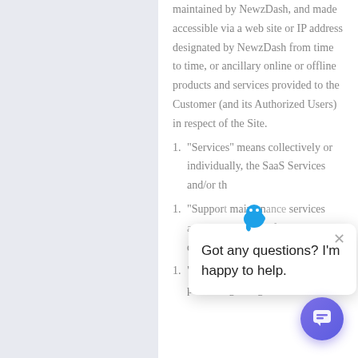associated content, operated and maintained by NewzDash, and made accessible via a web site or IP address designated by NewzDash from time to time, or ancillary online or offline products and services provided to the Customer (and its Authorized Users) in respect of the Site.
"Services" means collectively or individually, the SaaS Services and/or th
"Support... mainten... services... any as may be further described in a Sales Order.
"Test Period" shall mean the period beginning the first